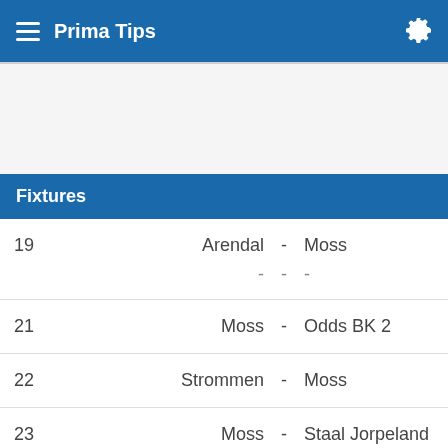Prima Tips
Fixtures
| # | Home |  | Away |
| --- | --- | --- | --- |
| 19 | Arendal | - | Moss |
|  | - | - | - |
| 21 | Moss | - | Odds BK 2 |
| 22 | Strommen | - | Moss |
| 23 | Moss | - | Staal Jorpeland |
| 24 | Egersunds | - | Moss |
| 25 | Moss |  | Vard Haugesund |